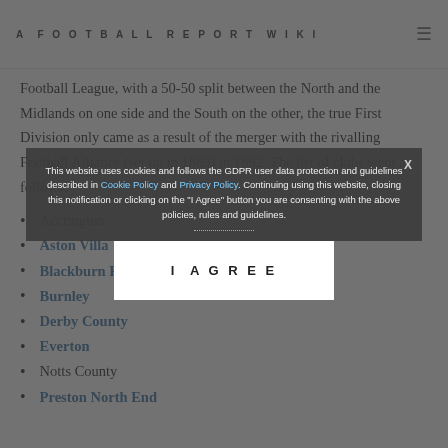A FOOTBALL REPORT WIKI
Football League, with a 50-50 split between the North and the Midlands on one side and the South on the other, the true First Division only came as a result of the merger with the rivalling Football Alliance (set up in 1889) in 1892. The list of clubs went as follows:
Accrington
Aston Villa
Blackburn Rovers
Burnley
Derby County
Everton
Notts County
Preston North End
This website uses cookies and follows the GDPR user data protection and guidelines described in Cookie Policy and Privacy Policy. Continuing using this website, closing this notification or clicking on the "I Agree" button you are consenting with the above policies, rules and guidelines.